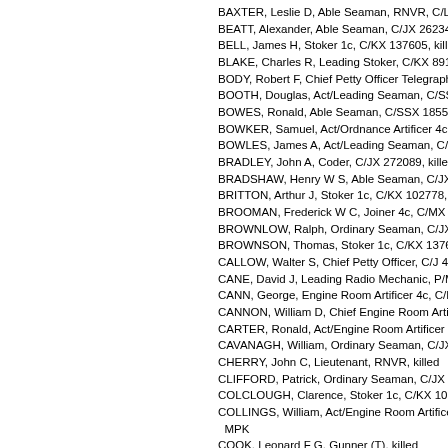BAXTER, Leslie D, Able Seaman, RNVR, C/LD/X 5637, killed
BEATT, Alexander, Able Seaman, C/JX 262348, killed
BELL, James H, Stoker 1c, C/KX 137605, killed
BLAKE, Charles R, Leading Stoker, C/KX 89165, killed
BODY, Robert F, Chief Petty Officer Telegraphist, C/J 26209, killed
BOOTH, Douglas, Act/Leading Seaman, C/SSX 25574, killed
BOWES, Ronald, Able Seaman, C/SSX 18554, killed
BOWKER, Samuel, Act/Ordnance Artificer 4c, C/MX 77200, killed
BOWLES, James A, Act/Leading Seaman, C/SSX 16062, killed
BRADLEY, John A, Coder, C/JX 272089, killed
BRADSHAW, Henry W S, Able Seaman, C/JX 294100, killed
BRITTON, Arthur J, Stoker 1c, C/KX 102778, killed
BROOMAN, Frederick W C, Joiner 4c, C/MX 76623, killed
BROWNLOW, Ralph, Ordinary Seaman, C/JX 373112, killed
BROWNSON, Thomas, Stoker 1c, C/KX 137610, killed
CALLOW, Walter S, Chief Petty Officer, C/J 44659, killed
CANE, David J, Leading Radio Mechanic, P/MX 99132, killed
CANN, George, Engine Room Artificer 4c, C/MX 92855, killed
CANNON, William D, Chief Engine Room Artificer, C/M 35083
CARTER, Ronald, Act/Engine Room Artificer 4c, C/MX 73439,
CAVANAGH, William, Ordinary Seaman, C/JX 318138, killed
CHERRY, John C, Lieutenant, RNVR, killed
CLIFFORD, Patrick, Ordinary Seaman, C/JX 351217, killed
COLCLOUGH, Clarence, Stoker 1c, C/KX 107133, killed
COLLINGS, William, Act/Engine Room Artificer 4c, C/MX 6176 MPK
COOK, Leonard F G, Gunner (T), killed
COOK, William, Leading Steward, C/LX 26180, killed
CORCORAN, John T, Act/Petty Officer, C/SSX 18398, killed
CORMACK, Cyril W B, Able Seaman, C/JX 236405, killed